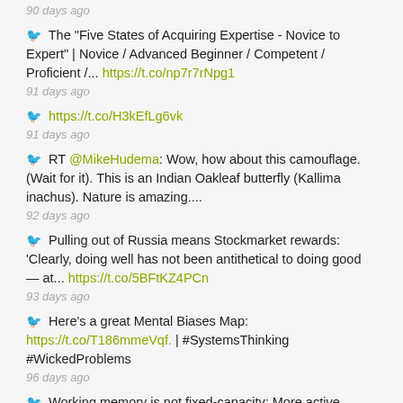90 days ago
🐦 The "Five States of Acquiring Expertise - Novice to Expert" | Novice / Advanced Beginner / Competent / Proficient /... https://t.co/np7r7rNpg1
91 days ago
🐦 https://t.co/H3kEfLg6vk
91 days ago
🐦 RT @MikeHudema: Wow, how about this camouflage. (Wait for it). This is an Indian Oakleaf butterfly (Kallima inachus). Nature is amazing....
92 days ago
🐦 Pulling out of Russia means Stockmarket rewards: 'Clearly, doing well has not been antithetical to doing good — at... https://t.co/5BFtKZ4PCn
93 days ago
🐦 Here's a great Mental Biases Map: https://t.co/T186mmeVqf. | #SystemsThinking #WickedProblems
96 days ago
🐦 Working memory is not fixed-capacity: More active storage capacity for real-world objects than